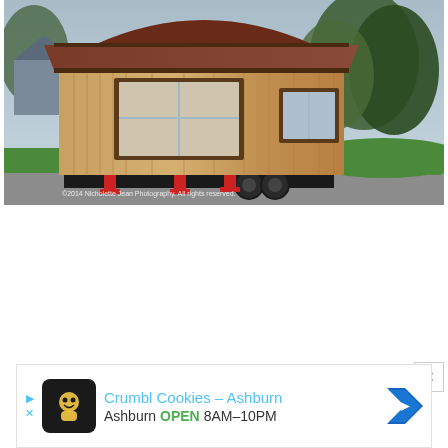[Figure (photo): A tiny house on wheels with vertical cedar wood siding, large windows, gambrel/arched roof with dark red metal roofing, parked on a driveway in a residential neighborhood. Red stabilizer jacks visible under the structure. Watermark reads: ©2014 Nicholette Jean Photography. All rights reserved.]
[Figure (other): Advertisement banner for Crumbl Cookies - Ashburn. Shows logo, title in blue, and text: Ashburn OPEN 8AM-10PM with a navigation arrow icon.]